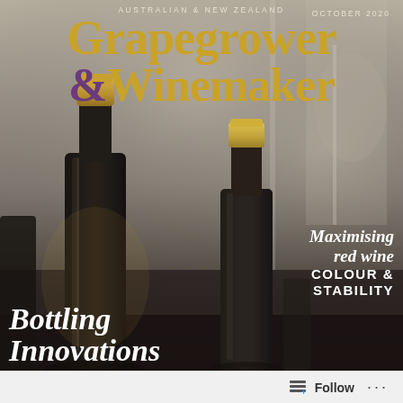[Figure (photo): Magazine cover of Australian & New Zealand Grapegrower & Winemaker, October 2020 issue. Background shows wine bottles on a bottling line in a winery, blurred industrial machinery. Dark amber/gold glass bottles with gold capsules visible prominently.]
AUSTRALIAN & NEW ZEALAND
Grapegrower
& Winemaker
OCTOBER 2020
Maximising red wine COLOUR & STABILITY
Bottling Innovations
Follow ...